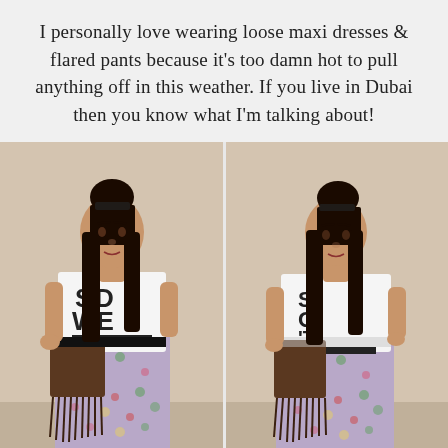I personally love wearing loose maxi dresses & flared pants because it's too damn hot to pull anything off in this weather. If you live in Dubai then you know what I'm talking about!
[Figure (photo): Two side-by-side photos of a woman wearing a white graphic t-shirt with 'SO OVER IT' text and stars, a brown fringed crossbody bag, and a floral maxi skirt. Her dark hair is styled in a top bun. Left photo shows her with hand on hip looking down; right photo shows a similar pose.]